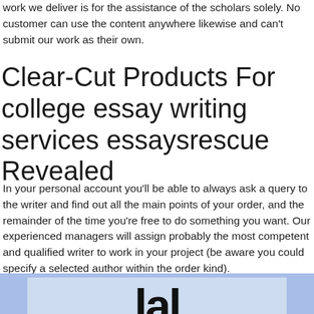work we deliver is for the assistance of the scholars solely. No customer can use the content anywhere likewise and can't submit our work as their own.
Clear-Cut Products For college essay writing services essaysrescue Revealed
In your personal account you'll be able to always ask a query to the writer and find out all the main points of your order, and the remainder of the time you're free to do something you want. Our experienced managers will assign probably the most competent and qualified writer to work in your project (be aware you could specify a selected author within the order kind).
[Figure (photo): Bottom portion of a photo with dark text letters visible against a light background, with blue sky tones]